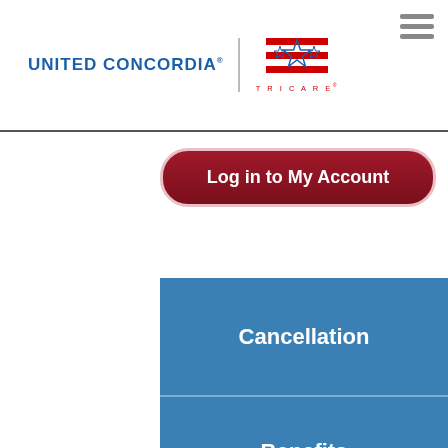[Figure (logo): United Concordia and TRICARE logos in the page header]
Log in to My Account
Cancellation
Benefits
Coordination of Benefits
Claims